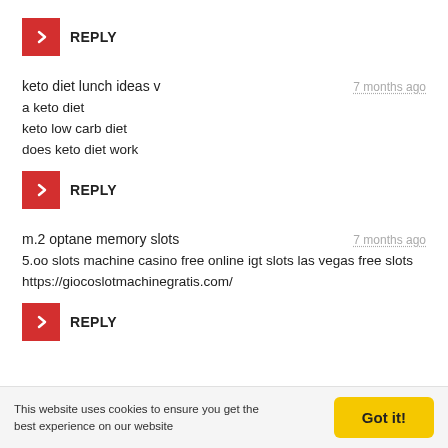[Figure (other): Red square reply button with right-arrow chevron icon and REPLY label]
keto diet lunch ideas v
7 months ago
a keto diet
keto low carb diet
does keto diet work
[Figure (other): Red square reply button with right-arrow chevron icon and REPLY label]
m.2 optane memory slots
7 months ago
5.oo slots machine casino free online igt slots las vegas free slots https://giocoslotmachinegratis.com/
[Figure (other): Red square reply button with right-arrow chevron icon and REPLY label]
This website uses cookies to ensure you get the best experience on our website
Got it!